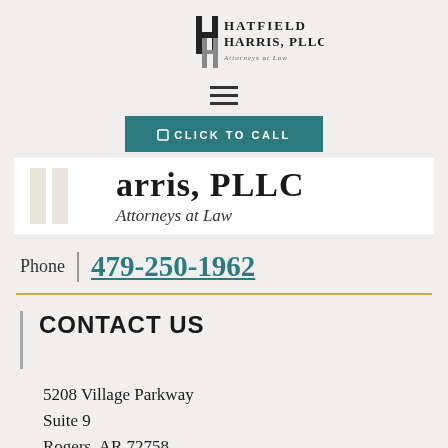[Figure (logo): Hatfield Harris, PLLC Attorneys at Law logo — stylized H letters with firm name and subtitle, shown twice: small at top and large in banner]
[Figure (other): Hamburger menu icon (three horizontal lines)]
[Figure (other): Teal 'CLICK TO CALL' button with phone icon]
Phone  |  479-250-1962
CONTACT US
5208 Village Parkway
Suite 9
Rogers, AR 72758